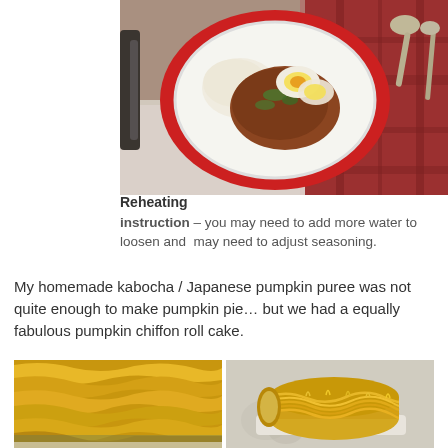[Figure (photo): Overhead view of a white plate on a red charger plate with rice, curry, and halved boiled egg, with a spoon and plaid tablecloth]
Reheating instruction – you may need to add more water to loosen and may need to adjust seasoning.
My homemade kabocha / Japanese pumpkin puree was not quite enough to make pumpkin pie… but we had a equally fabulous pumpkin chiffon roll cake.
[Figure (photo): Two photos side by side of a yellow pumpkin chiffon roll cake, close-up on left and full view on right]